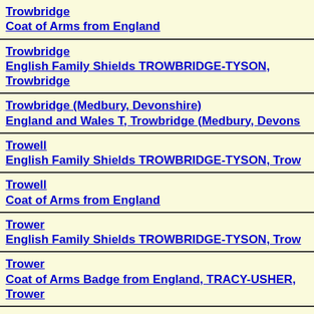Trowbridge
Coat of Arms from England
Trowbridge
English Family Shields TROWBRIDGE-TYSON, Trowbridge
Trowbridge (Medbury, Devonshire)
England and Wales T, Trowbridge (Medbury, Devons…
Trowell
English Family Shields TROWBRIDGE-TYSON, Trow…
Trowell
Coat of Arms from England
Trower
English Family Shields TROWBRIDGE-TYSON, Trow…
Trower
Coat of Arms Badge from England, TRACY-USHER, Trower
Trower
Coat of Arms from England